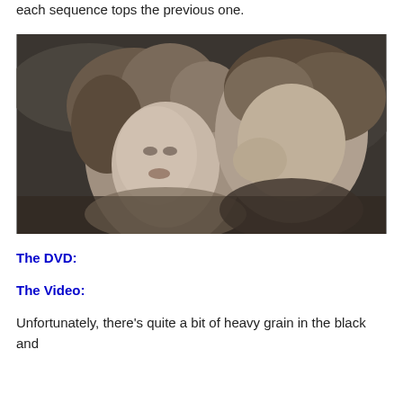each sequence tops the previous one.
[Figure (photo): Black and white film still showing a young woman with curly hair and a man leaning close to her face, in an intimate scene.]
The DVD:
The Video:
Unfortunately, there's quite a bit of heavy grain in the black and